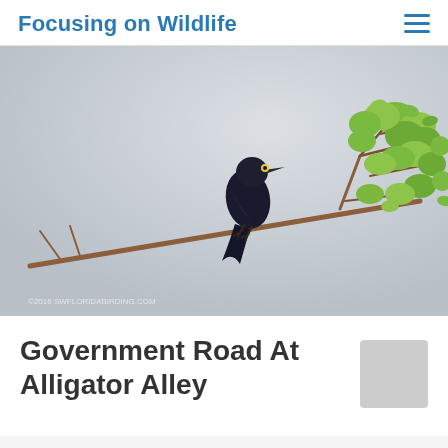Focusing on Wildlife
[Figure (photo): A dark-plumaged bird (likely a grackle or similar blackbird) perched on a thin branch, facing right, with green leafy shrubs in the right background and a pale grey overcast sky. A small watermark text appears in the bottom-left corner of the image.]
Government Road At Alligator Alley